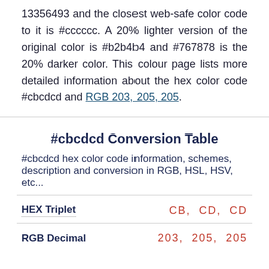13356493 and the closest web-safe color code to it is #cccccc. A 20% lighter version of the original color is #b2b4b4 and #767878 is the 20% darker color. This colour page lists more detailed information about the hex color code #cbcdcd and RGB 203, 205, 205.
#cbcdcd Conversion Table
#cbcdcd hex color code information, schemes, description and conversion in RGB, HSL, HSV, etc...
|  |  |
| --- | --- |
| HEX Triplet | CB, CD, CD |
| RGB Decimal | 203, 205, 205 |